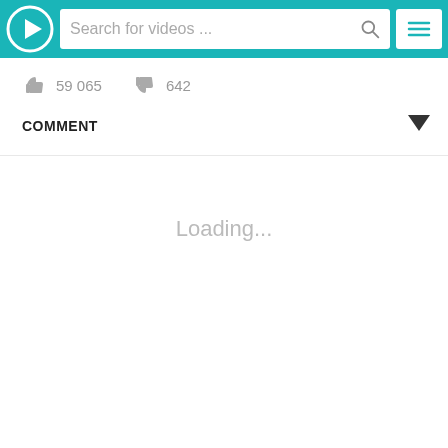[Figure (screenshot): Mobile video app header bar with teal/cyan background containing a circular play button icon on the left, a search bar with placeholder text 'Search for videos ...' and a search icon, and a hamburger menu button on the right.]
59 065
642
COMMENT
Loading...